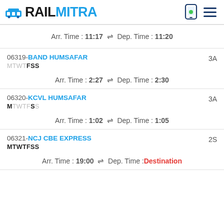RAILMITRA
Arr. Time : 11:17 ⇌ Dep. Time : 11:20
06319-BAND HUMSAFAR MTWTFSS 3A Arr. Time : 2:27 ⇌ Dep. Time : 2:30
06320-KCVL HUMSAFAR MTWTFSS 3A Arr. Time : 1:02 ⇌ Dep. Time : 1:05
06321-NCJ CBE EXPRESS MTWTFSS 2S Arr. Time : 19:00 ⇌ Dep. Time : Destination